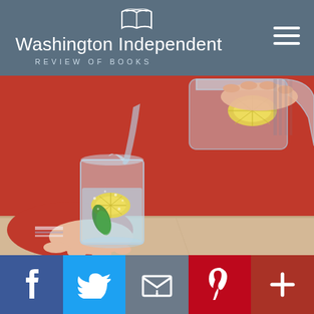Washington Independent Review of Books
[Figure (photo): Person in red sweater pouring sparkling water with lemon slices into a glass from a pitcher, on a wooden table.]
[Figure (infographic): Social media sharing bar with Facebook, Twitter, Email, Pinterest, and More (+) buttons.]